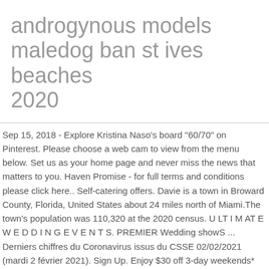androgynous models maledog ban st ives beaches 2020
Sep 15, 2018 - Explore Kristina Naso's board "60/70" on Pinterest. Please choose a web cam to view from the menu below. Set us as your home page and never miss the news that matters to you. Haven Promise - for full terms and conditions please click here.. Self-catering offers. Davie is a town in Broward County, Florida, United States about 24 miles north of Miami.The town's population was 110,320 at the 2020 census. U LT I M AT E W E D D I N G E V E N T S. PREMIER Wedding showS ... Derniers chiffres du Coronavirus issus du CSSE 02/02/2021 (mardi 2 février 2021). Sign Up. Enjoy $30 off 3-day weekends* Book Now. Receive our